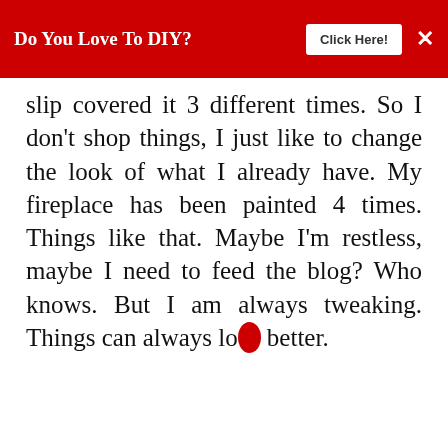Do You Love To DIY? Click Here!
slip covered it 3 different times. So I don't shop things, I just like to change the look of what I already have. My fireplace has been painted 4 times. Things like that. Maybe I'm restless, maybe I need to feed the blog? Who knows. But I am always tweaking. Things can always lo... better.
REPLY DELETE
REPLIES
[Figure (infographic): take the pledge advertisement banner with Release logo]
[Figure (infographic): WHAT'S NEXT arrow - Redecorating... thumbnail widget]